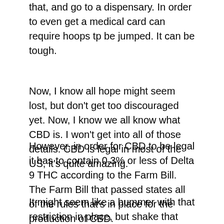that, and go to a dispensary. In order to even get a medical card can require hoops tp be jumped. It can be tough.
Now, I know all hope might seem lost, but don't get too discouraged yet. Now, I know we all know what CBD is. I won't get into all of those details. CBD is legal in most of the US, it's quite amazing.
However, in order for CBD to be legal it has to contain 0.3% or less of Delta 9 THC according to the Farm Bill. The Farm Bill that passed states all of the rules that's in place for the production of CBD.
It might seem like a bummer with that restriction in place, but shake that thought right from your head. Why is that? Oh, I'll tell you. The Farm Bill that's in place also works some magic, so to speak.
Thanks to the Farm Bill, there is a loophole that's hidden